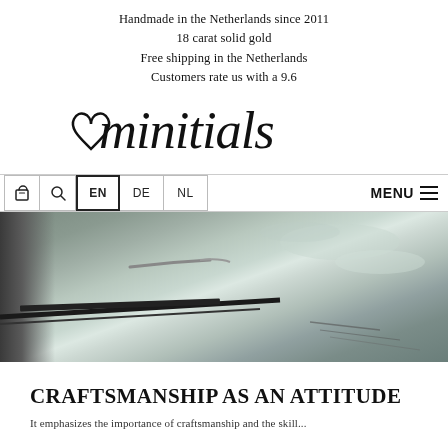Handmade in the Netherlands since 2011
18 carat solid gold
Free shipping in the Netherlands
Customers rate us with a 9.6
[Figure (logo): minitials brand logo in cursive handwriting style with a heart incorporated]
EN DE NL MENU
[Figure (photo): Close-up photo of a metalworking/engraving tool working on a metal surface with shavings, in grey tones]
CRAFTSMANSHIP AS AN ATTITUDE
It emphasizes the importance of craftsmanship and the skill...